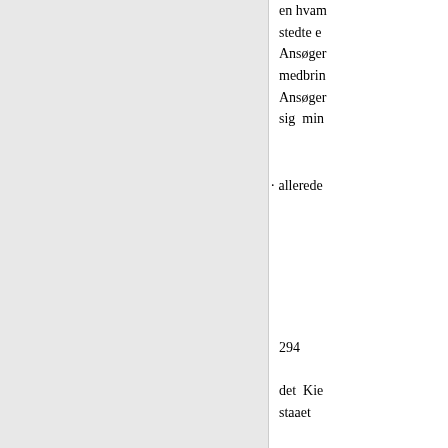en hvam stedte e Ansøger medbrin Ansøger sig min
allerede
294
det Kie staaet